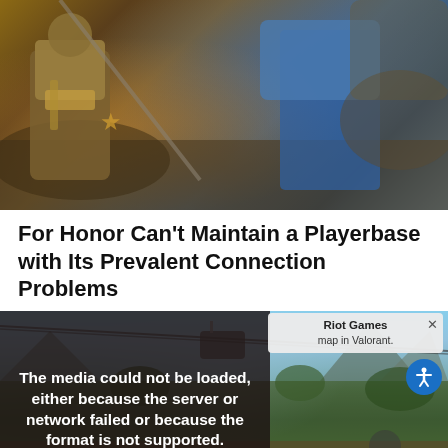[Figure (photo): Screenshot of an action game (For Honor) showing armored warriors in combat with decorative armor and a blue cape visible]
For Honor Can't Maintain a Playerbase with Its Prevalent Connection Problems
[Figure (screenshot): Video game screenshot showing outdoor environment with mountains and cable car, overlaid with a media error message reading 'The media could not be loaded, either because the server or network failed or because the format is not supported.' A Riot Games tooltip overlay shows 'map in Valorant.' with an X close button and an accessibility icon button.]